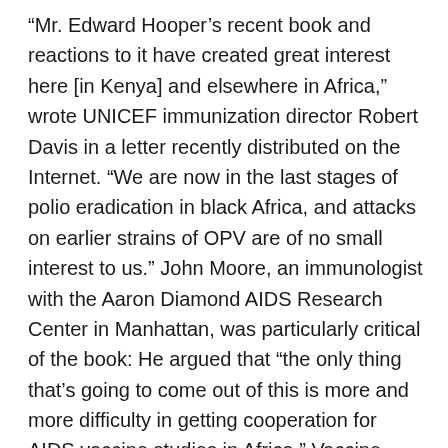“Mr. Edward Hooper’s recent book and reactions to it have created great interest here [in Kenya] and elsewhere in Africa,” wrote UNICEF immunization director Robert Davis in a letter recently distributed on the Internet. “We are now in the last stages of polio eradication in black Africa, and attacks on earlier strains of OPV are of no small interest to us.” John Moore, an immunologist with the Aaron Diamond AIDS Research Center in Manhattan, was particularly critical of the book: He argued that “the only thing that’s going to come out of this is more and more difficulty in getting cooperation for AIDS vaccine studies in Africa.” Vaccine researchers in Uganda were delayed two years in conducting tests of a potential HIV vaccine because of strong suspicions of western intentions. “The River,” some scientists argue, will simply exacerbate such